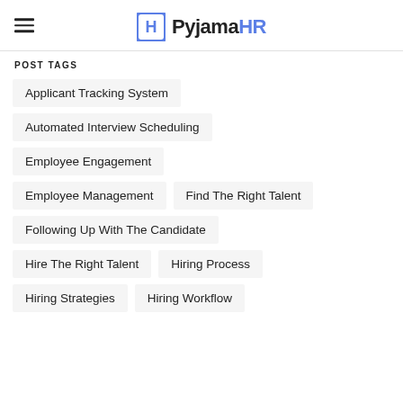PyjamaHR
POST TAGS
Applicant Tracking System
Automated Interview Scheduling
Employee Engagement
Employee Management
Find The Right Talent
Following Up With The Candidate
Hire The Right Talent
Hiring Process
Hiring Strategies
Hiring Workflow